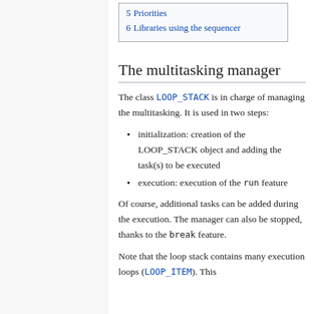5 Priorities
6 Libraries using the sequencer
The multitasking manager
The class LOOP_STACK is in charge of managing the multitasking. It is used in two steps:
initialization: creation of the LOOP_STACK object and adding the task(s) to be executed
execution: execution of the run feature
Of course, additional tasks can be added during the execution. The manager can also be stopped, thanks to the break feature.
Note that the loop stack contains many execution loops (LOOP_ITEM). This